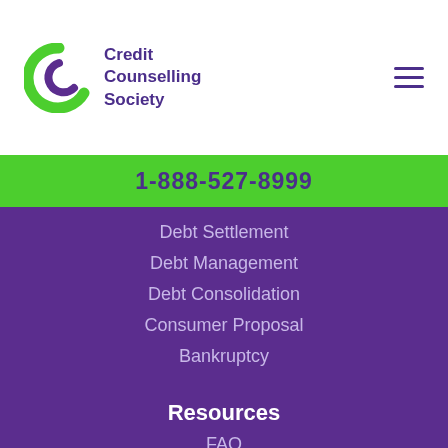[Figure (logo): Credit Counselling Society logo with green and purple circular icon and purple text]
1-888-527-8999
Debt Settlement
Debt Management
Debt Consolidation
Consumer Proposal
Bankruptcy
Resources
FAQ
Calculators
Workshops
Blog
Sitemap
MyMoneyCoach.ca
(Our Educational Site)